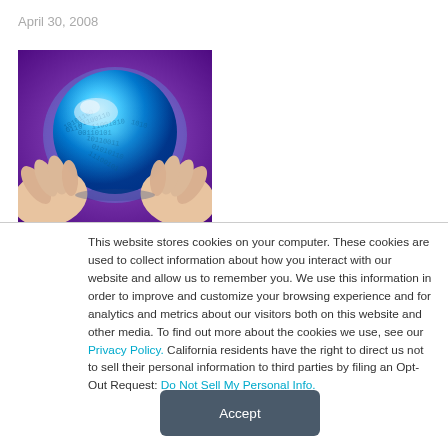April 30, 2008
[Figure (photo): Two hands holding a glowing blue crystal ball with binary code (0s and 1s) displayed on its surface, against a purple background]
This website stores cookies on your computer. These cookies are used to collect information about how you interact with our website and allow us to remember you. We use this information in order to improve and customize your browsing experience and for analytics and metrics about our visitors both on this website and other media. To find out more about the cookies we use, see our Privacy Policy. California residents have the right to direct us not to sell their personal information to third parties by filing an Opt-Out Request: Do Not Sell My Personal Info.